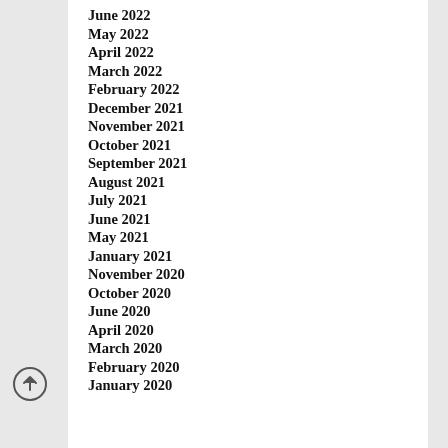June 2022
May 2022
April 2022
March 2022
February 2022
December 2021
November 2021
October 2021
September 2021
August 2021
July 2021
June 2021
May 2021
January 2021
November 2020
October 2020
June 2020
April 2020
March 2020
February 2020
January 2020